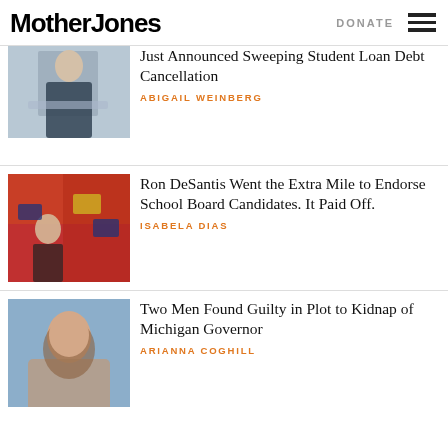Mother Jones | DONATE
[Figure (photo): Partial photo of a man in a suit at a podium]
Just Announced Sweeping Student Loan Debt Cancellation
ABIGAIL WEINBERG
[Figure (photo): Ron DeSantis at a rally with crowd holding signs including 'Keep Florida Free']
Ron DeSantis Went the Extra Mile to Endorse School Board Candidates. It Paid Off.
ISABELA DIAS
[Figure (photo): Portrait of a woman with long brown hair smiling, in front of a blue curtain]
Two Men Found Guilty in Plot to Kidnap of Michigan Governor
ARIANNA COGHILL